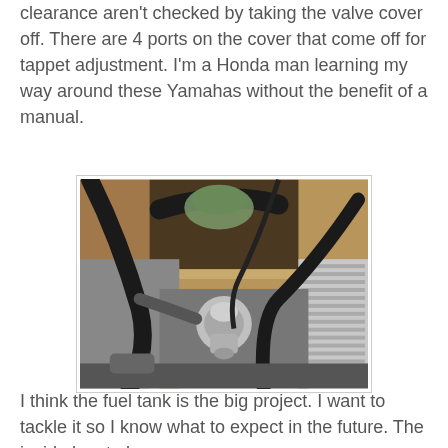clearance aren't checked by taking the valve cover off. There are 4 ports on the cover that come off for tappet adjustment. I'm a Honda man learning my way around these Yamahas without the benefit of a manual.
[Figure (photo): Close-up photograph of a Yamaha motorcycle engine, showing the carburetor, frame tubes, engine fins, and various cables and wiring in a workshop or garage setting.]
I think the fuel tank is the big project. I want to tackle it so I know what to expect in the future. The inside has to be